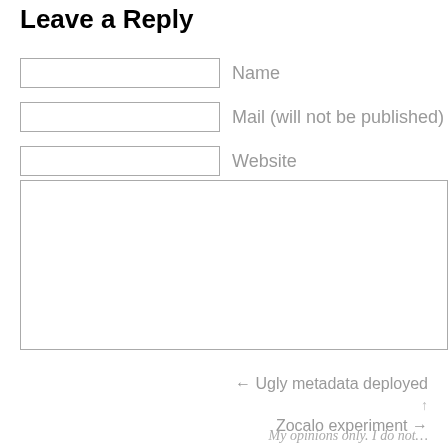Leave a Reply
Name
Mail (will not be published)
Website
← Ugly metadata deployed
↑
Zocalo experiment →
My opinions only. I do not…